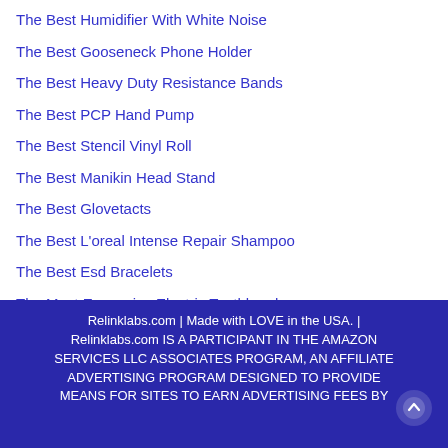The Best Humidifier With White Noise
The Best Gooseneck Phone Holder
The Best Heavy Duty Resistance Bands
The Best PCP Hand Pump
The Best Stencil Vinyl Roll
The Best Manikin Head Stand
The Best Glovetacts
The Best L'oreal Intense Repair Shampoo
The Best Esd Bracelets
The Most Expensive Electric Toothbrush
Relinklabs.com | Made with LOVE in the USA. | Relinklabs.com IS A PARTICIPANT IN THE AMAZON SERVICES LLC ASSOCIATES PROGRAM, AN AFFILIATE ADVERTISING PROGRAM DESIGNED TO PROVIDE MEANS FOR SITES TO EARN ADVERTISING FEES BY